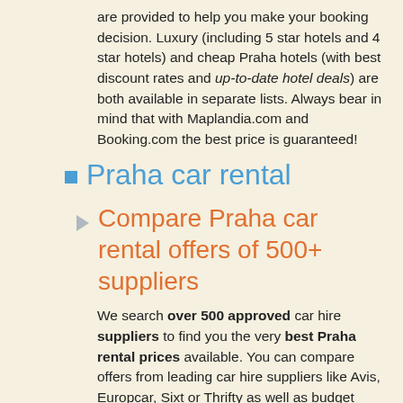are provided to help you make your booking decision. Luxury (including 5 star hotels and 4 star hotels) and cheap Praha hotels (with best discount rates and up-to-date hotel deals) are both available in separate lists. Always bear in mind that with Maplandia.com and Booking.com the best price is guaranteed!
Praha car rental
Compare Praha car rental offers of 500+ suppliers
We search over 500 approved car hire suppliers to find you the very best Praha rental prices available. You can compare offers from leading car hire suppliers like Avis, Europcar, Sixt or Thrifty as well as budget rental deals from Holiday Autos, Budget, Economy, EasyCar, or 121 carhire. Choose Praha car hire supplier according to your preferences. The booking process is secured and is made as simple as possible. You don't have to browse through several websites and compare prices to find cheap car rental in